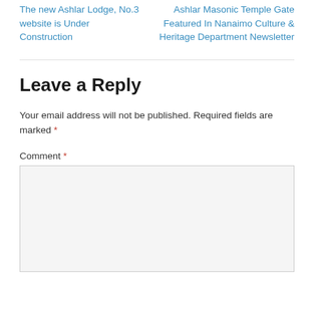The new Ashlar Lodge, No.3 website is Under Construction
Ashlar Masonic Temple Gate Featured In Nanaimo Culture & Heritage Department Newsletter
Leave a Reply
Your email address will not be published. Required fields are marked *
Comment *